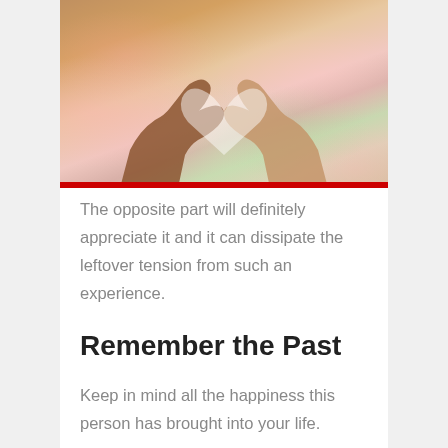[Figure (photo): Two hands forming a heart shape with fingers against a blurred bokeh background with pink and green tones, with a red horizontal bar at the bottom of the image.]
The opposite part will definitely appreciate it and it can dissipate the leftover tension from such an experience.
Remember the Past
Keep in mind all the happiness this person has brought into your life.
One little fight can't change that. Don't begin to doubt the future simply